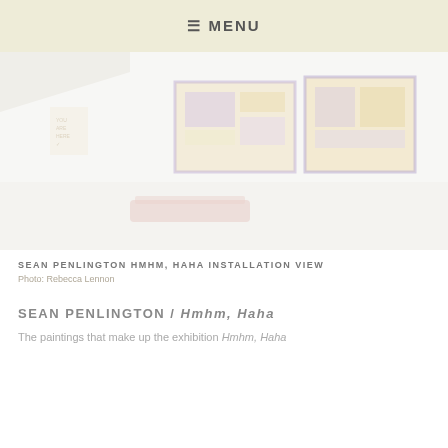≡ MENU
[Figure (photo): Gallery installation view showing artworks on white walls. Left wall has a small text-based artwork. Center and right walls display large colorful paintings with purple, orange, and white geometric shapes/grids. A colorful low piece of furniture/bench sits on the gallery floor in the foreground.]
SEAN PENLINGTON HMHM, HAHA INSTALLATION VIEW
Photo: Rebecca Lennon
SEAN PENLINGTON / Hmhm, Haha
The paintings that make up the exhibition Hmhm, Haha